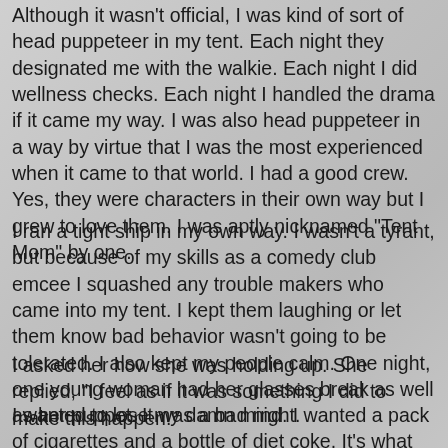Although it wasn't official, I was kind of sort of head puppeteer in my tent. Each night they designated me with the walkie. Each night I did wellness checks. Each night I handled the drama if it came my way. I was also head puppeteer in a way by virtue that I was the most experienced when it came to that world. I had a good crew. Yes, they were characters in their own way but I grew to love them. I was aptly nicknamed "Tent Mom" by one.
I ran a tight ship in my own way. I wasn't a tyrant, but because of my skills as a comedy club emcee I squashed any trouble makers who came into my tent. I kept them laughing or let them know bad behavior wasn't going to be tolerated. I also kept my people calm. One night, one young woman had her glasses break as well as her puppet. It was a bad night.
I asked her how she was holding up. She replied, "I feel as if it was something I did to make this happen."
I wanted to lose my damn mind. I wanted a pack of cigarettes and a bottle of diet coke. It's what one of my mom